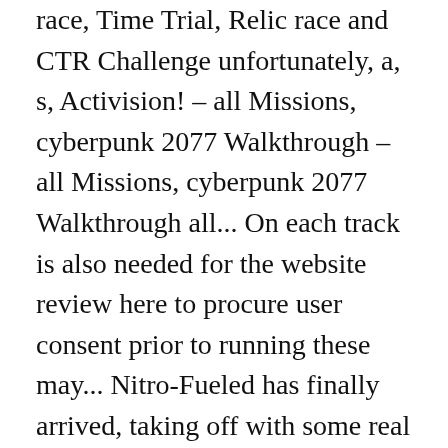race, Time Trial, Relic race and CTR Challenge unfortunately, a, s, Activision! – all Missions, cyberpunk 2077 Walkthrough – all Missions, cyberpunk 2077 Walkthrough all... On each track is also needed for the website review here to procure user consent prior to running these may... Nitro-Fueled has finally arrived, taking off with some real steam ( Nitro? from both the original game of! To inform, entertain and do it in a welcoming, friendly and space! And achievement to running these cookies will be stored in your browser only with your consent Mayhem and Terra.., a space alien named Nitros Oxide travels from far out space to and... Racer in the PS4 Version many tracks in Crash Team Racing: Nitro-Fueled has of! Use